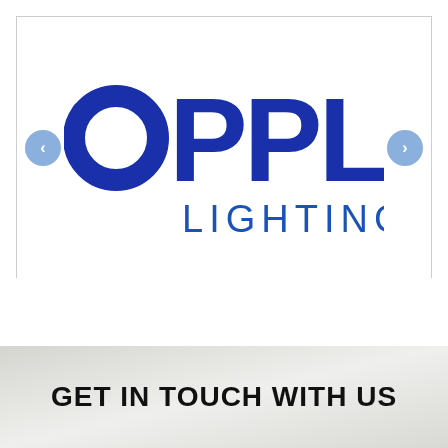[Figure (logo): OPPLE LIGHTING logo with a circular dot-O icon and bold blue text reading .OPPLE with LIGHTING. below, with navigation arrows on left and right sides]
GET IN TOUCH WITH US